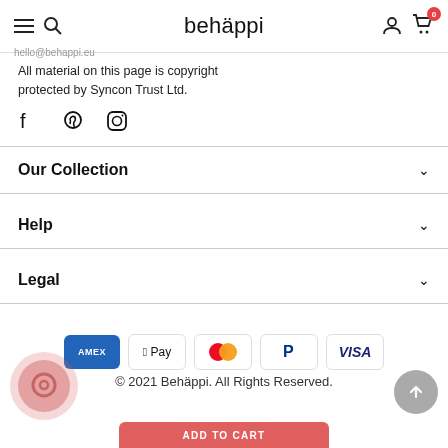behäppi
All material on this page is copyright protected by Syncon Trust Ltd.
[Figure (illustration): Social media icons: Facebook, Pinterest, Instagram]
Our Collection
Help
Legal
[Figure (infographic): Payment method icons: American Express, Apple Pay, Mastercard, PayPal, Visa]
© 2021 Behäppi. All Rights Reserved.